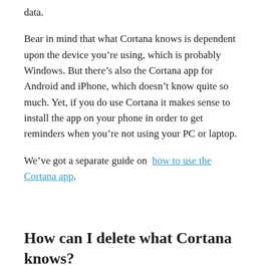data.
Bear in mind that what Cortana knows is dependent upon the device you’re using, which is probably Windows. But there’s also the Cortana app for Android and iPhone, which doesn’t know quite so much. Yet, if you do use Cortana it makes sense to install the app on your phone in order to get reminders when you’re not using your PC or laptop.
We’ve got a separate guide on how to use the Cortana app.
How can I delete what Cortana knows?